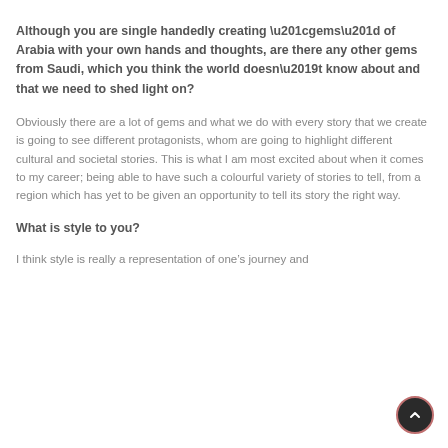Although you are single handedly creating “gems” of Arabia with your own hands and thoughts, are there any other gems from Saudi, which you think the world doesn’t know about and that we need to shed light on?
Obviously there are a lot of gems and what we do with every story that we create is going to see different protagonists, whom are going to highlight different cultural and societal stories. This is what I am most excited about when it comes to my career; being able to have such a colourful variety of stories to tell, from a region which has yet to be given an opportunity to tell its story the right way.
What is style to you?
I think style is really a representation of one’s journey and